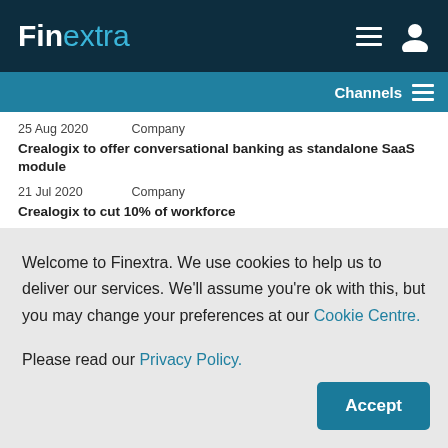Finextra
Channels
25 Aug 2020   Company
Crealogix to offer conversational banking as standalone SaaS module
21 Jul 2020   Company
Crealogix to cut 10% of workforce
Welcome to Finextra. We use cookies to help us to deliver our services. We'll assume you're ok with this, but you may change your preferences at our Cookie Centre. Please read our Privacy Policy.